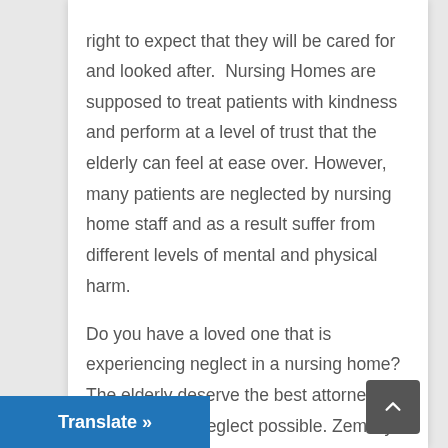right to expect that they will be cared for and looked after.  Nursing Homes are supposed to treat patients with kindness and perform at a level of trust that the elderly can feel at ease over. However, many patients are neglected by nursing home staff and as a result suffer from different levels of mental and physical harm.

Do you have a loved one that is experiencing neglect in a nursing home? The elderly deserve the best attorney for nursing home neglect possible. Zemsky and Salomon will ensure that they get the care that